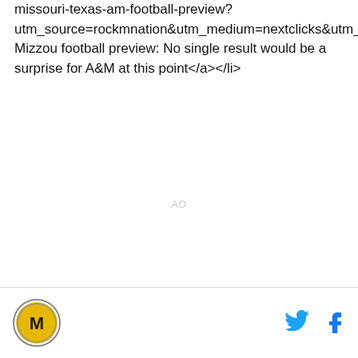missouri-texas-am-football-preview?utm_source=rockmnation&utm_medium=nextclicks&utm_Mizzou football preview: No single result would be a surprise for A&M at this point</a></li>
AD
[Figure (logo): Rock M Nation circular logo with M letter on gold/yellow background]
[Figure (other): Twitter bird icon in cyan blue]
[Figure (other): Facebook f icon in blue]